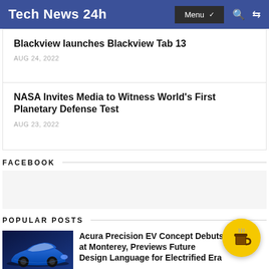Tech News 24h
Blackview launches Blackview Tab 13
AUG 24, 2022
NASA Invites Media to Witness World's First Planetary Defense Test
AUG 23, 2022
FACEBOOK
POPULAR POSTS
[Figure (photo): Blue Acura Precision EV Concept car on dark background]
Acura Precision EV Concept Debuts at Monterey, Previews Future Design Language for Electrified Era